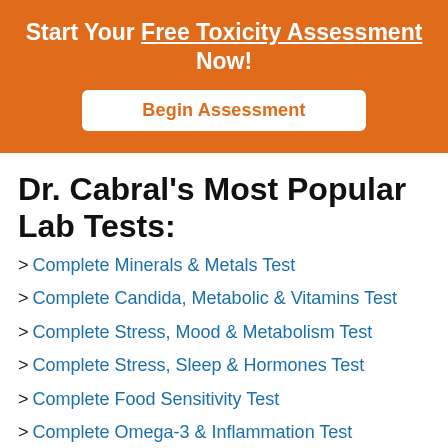Start Your Free Toxicity Assessment Now!
Begin Assessment
Dr. Cabral's Most Popular Lab Tests:
> Complete Minerals & Metals Test
> Complete Candida, Metabolic & Vitamins Test
> Complete Stress, Mood & Metabolism Test
> Complete Stress, Sleep & Hormones Test
> Complete Food Sensitivity Test
> Complete Omega-3 & Inflammation Test
> Complete Gut Bacteria & Parasite Test